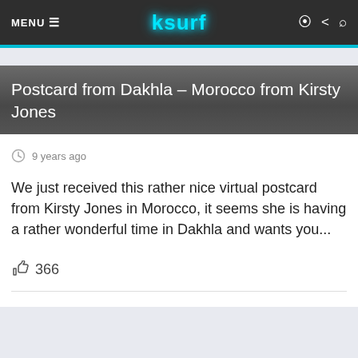MENU  ksurf
Postcard from Dakhla – Morocco from Kirsty Jones
9 years ago
We just received this rather nice virtual postcard from Kirsty Jones in Morocco, it seems she is having a rather wonderful time in Dakhla and wants you...
366